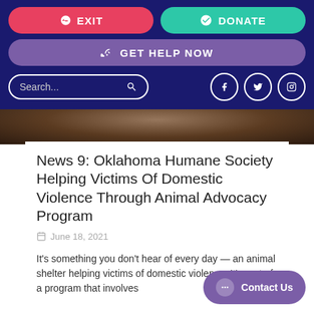EXIT | DONATE | GET HELP NOW | Search... | Social icons (Facebook, Twitter, Instagram)
[Figure (photo): Dark photo of animals in the background behind an article card]
News 9: Oklahoma Humane Society Helping Victims Of Domestic Violence Through Animal Advocacy Program
June 18, 2021
It's something you don't hear of every day — an animal shelter helping victims of domestic violence. It's part of a program that involves
Contact Us